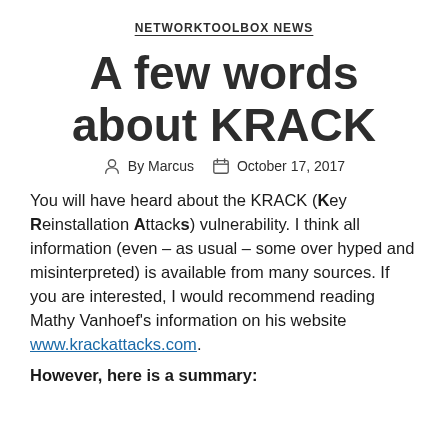NETWORKTOOLBOX NEWS
A few words about KRACK
By Marcus   October 17, 2017
You will have heard about the KRACK (Key Reinstallation Attacks) vulnerability. I think all information (even – as usual – some over hyped and misinterpreted) is available from many sources. If you are interested, I would recommend reading Mathy Vanhoef's information on his website www.krackattacks.com.
However, here is a summary: